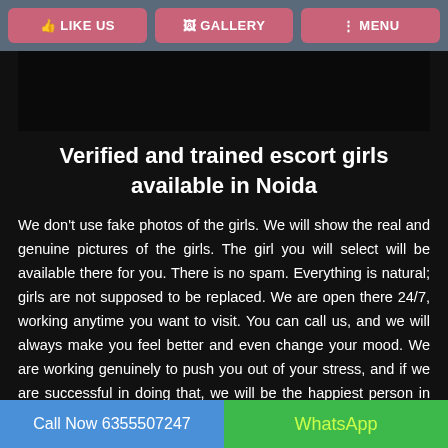LIKE US | GALLERY | MENU
Verified and trained escort girls available in Noida
We don't use fake photos of the girls. We will show the real and genuine pictures of the girls. The girl you will select will be available there for you. There is no spam. Everything is natural; girls are not supposed to be replaced. We are open there 24/7, working anytime you want to visit. You can call us, and we will always make you feel better and even change your mood. We are working genuinely to push you out of your stress, and if we are successful in doing that, we will be the happiest person in the world. If a man laughs because of us, nothing will be more blissful than that; we want to
Call Now 6355507247 | WhatsApp